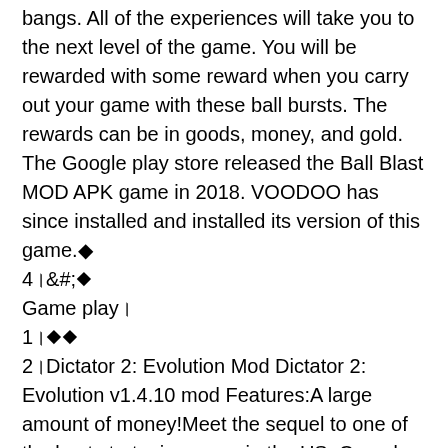bangs. All of the experiences will take you to the next level of the game. You will be rewarded with some reward when you carry out your game with these ball bursts. The rewards can be in goods, money, and gold. The Google play store released the Ball Blast MOD APK game in 2018. VOODOO has since installed and installed its version of this game.◆
4।&#;◆
Game play।
1।◆◆
2।Dictator 2: Evolution Mod Dictator 2: Evolution v1.4.10 mod Features:A large amount of money!Meet the sequel to one of the best strategic games in the US, Canada, Australia, Germany, Russia, UK and many other countries!You are the young dictator of a fledgling democratic republic. Anyone would dream of being in your place, because you wield unlimited power.You must make wise and timely decisions, eliminate scheming enemies, pay tributes to true friends, deftly uncover plots, and expose insidious